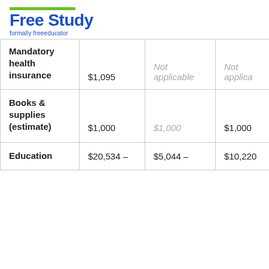[Figure (logo): Free Study logo with green bar above, blue bold text 'Free Study' and subtext 'formally freeeducator']
|  | Col1 | Col2 | Col3 |
| --- | --- | --- | --- |
| Mandatory health insurance | $1,095 | Not applicable | Not applica... |
| Books & supplies (estimate) | $1,000 | $1,000 | $1,000 |
| Education | $20,534 – | $5,044 – | $10,220... |